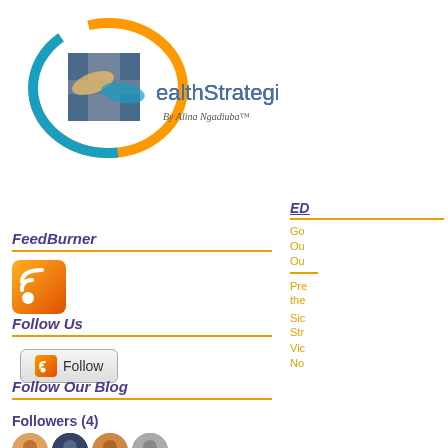[Figure (logo): HealthStrategiesReform logo with H icon wrapped in orange/blue swooshes and hands. Text: HealthStrategiesReform By Alina Ngadiuba™]
FeedBurner
[Figure (logo): RSS/FeedBurner orange icon]
Follow Us
[Figure (logo): Follow button with RSS icon]
Follow Our Blog
Followers (4)
[Figure (photo): Four follower avatars]
ED
Go
Ou
Ou
Pre the
Sic Str
Vic
No